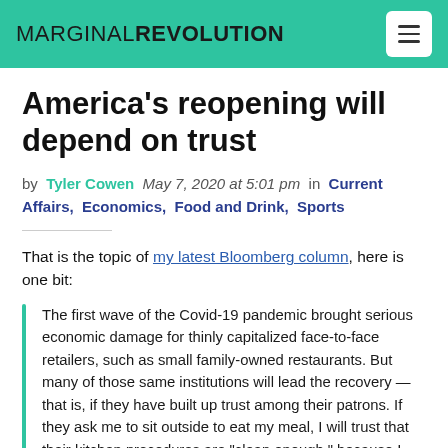MARGINAL REVOLUTION
America’s reopening will depend on trust
by Tyler Cowen May 7, 2020 at 5:01 pm in Current Affairs, Economics, Food and Drink, Sports
That is the topic of my latest Bloomberg column, here is one bit:
The first wave of the Covid-19 pandemic brought serious economic damage for thinly capitalized face-to-face retailers, such as small family-owned restaurants. But many of those same institutions will lead the recovery — that is, if they have built up trust among their patrons. If they ask me to sit outside to eat my meal, I will trust that their kitchen procedures are “clean enough,” because I believe that the boss is watching [there I am referring to two of my favorite local places].